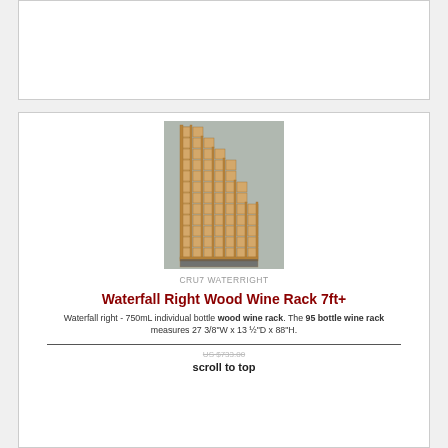[Figure (photo): Top white card area - empty/placeholder product card with white background and gray border]
[Figure (photo): Wooden waterfall right wine rack, tall staircase-shaped structure descending from left to right, natural pine wood, photographed against gray wall]
CRU7 WATERRIGHT
Waterfall Right Wood Wine Rack 7ft+
Waterfall right - 750mL individual bottle wood wine rack. The 95 bottle wine rack measures 27 3/8"W x 13 ½"D x 88"H.
US $733.00
scroll to top